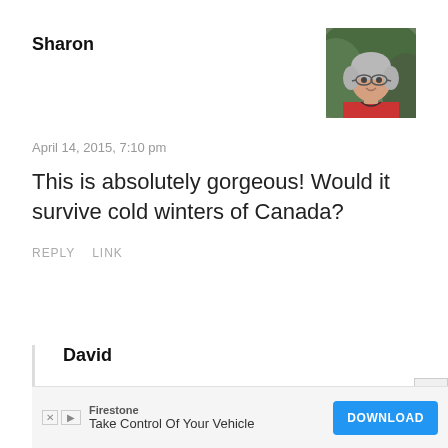Sharon
[Figure (photo): Avatar photo of Sharon, an older woman with short gray hair, glasses, and a red top, outdoors with green foliage background]
April 14, 2015, 7:10 pm
This is absolutely gorgeous! Would it survive cold winters of Canada?
REPLY   LINK
David
April 18, 2015, 11:19 pm
Nah, I don't think it would… great summer house however
[Figure (other): Advertisement banner: Firestone - Take Control Of Your Vehicle - DOWNLOAD button]
×